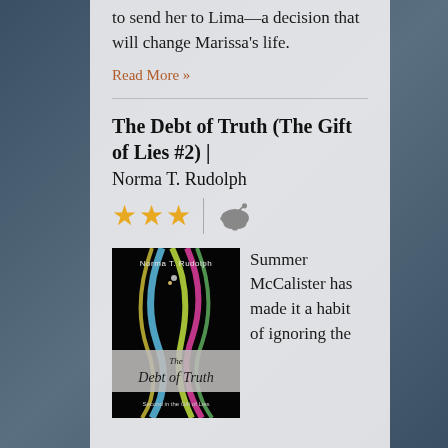to send her to Lima—a decision that will change Marissa's life.
Read More »
The Debt of Truth (The Gift of Lies #2) | Norma T. Rudolph
[Figure (other): Three gold stars and a gray genie lamp icon rating display]
[Figure (illustration): Book cover for 'The Debt of Truth' by Norma T. Rudolph — black background with colorful flowing ribbon shapes, author name at top in white, title in stylized italic text on a gray band]
Summer McCalister has made it a habit of ignoring the